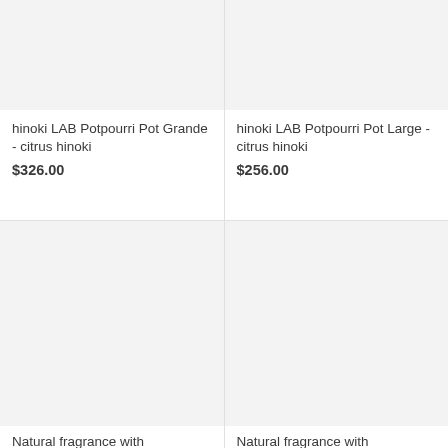[Figure (photo): Product image placeholder for hinoki LAB Potpourri Pot Grande - citrus hinoki, light gray background]
hinoki LAB Potpourri Pot Grande - citrus hinoki
$326.00
[Figure (photo): Product image placeholder for hinoki LAB Potpourri Pot Large - citrus hinoki, light gray background]
hinoki LAB Potpourri Pot Large - citrus hinoki
$256.00
[Figure (photo): Product image placeholder bottom left, light gray background, partially visible]
Natural fragrance with...
[Figure (photo): Product image placeholder bottom right, light gray background, partially visible]
Natural fragrance with...